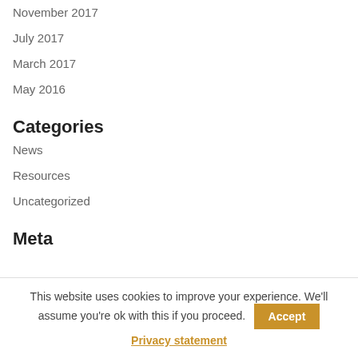November 2017
July 2017
March 2017
May 2016
Categories
News
Resources
Uncategorized
Meta
This website uses cookies to improve your experience. We'll assume you're ok with this if you proceed. Accept Privacy statement